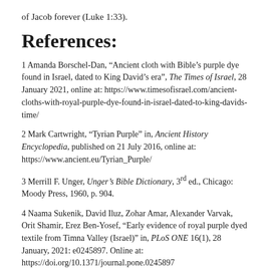of Jacob forever (Luke 1:33).
References:
1 Amanda Borschel-Dan, “Ancient cloth with Bible’s purple dye found in Israel, dated to King David’s era”, The Times of Israel, 28 January 2021, online at: https://www.timesofisrael.com/ancient-cloths-with-royal-purple-dye-found-in-israel-dated-to-king-davids-time/
2 Mark Cartwright, “Tyrian Purple” in, Ancient History Encyclopedia, published on 21 July 2016, online at: https://www.ancient.eu/Tyrian_Purple/
3 Merrill F. Unger, Unger’s Bible Dictionary, 3rd ed., Chicago: Moody Press, 1960, p. 904.
4 Naama Sukenik, David Iluz, Zohar Amar, Alexander Varvak, Orit Shamir, Erez Ben-Yosef, “Early evidence of royal purple dyed textile from Timna Valley (Israel)” in, PLoS ONE 16(1), 28 January, 2021: e0245897. Online at: https://doi.org/10.1371/journal.pone.0245897